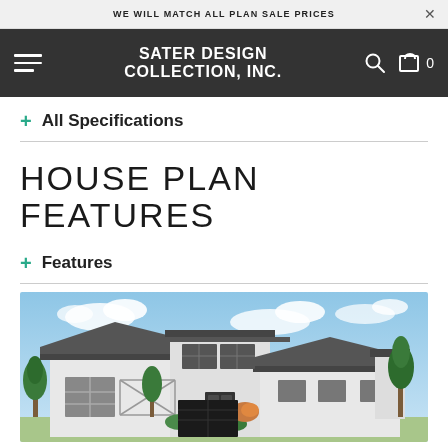WE WILL MATCH ALL PLAN SALE PRICES
SATER DESIGN COLLECTION, INC.
+ All Specifications
HOUSE PLAN FEATURES
+ Features
[Figure (photo): Rendering of a modern two-story white stucco house with dark roof, large windows, and landscaping including trees and shrubs, against a blue sky with clouds.]